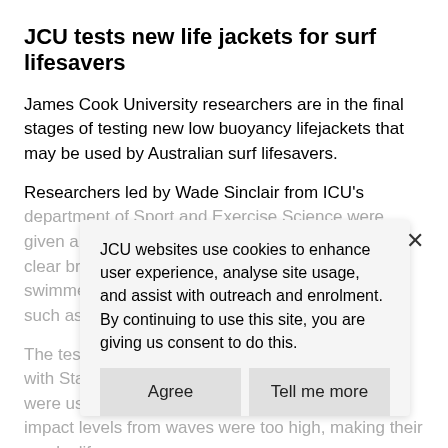JCU tests new life jackets for surf lifesavers
James Cook University researchers are in the final stages of testing new low buoyancy lifejackets that may be used by Australian surf lifesavers.
Researchers led by Wade Sinclair from ICU's department of Sport and Exercise Science were given a clear brief – the vests must return an unconscious swimmer to the surface and perform other tasks such as...
The testing... compliant with Standards Australia... standard were usable in heavy surf. Their buoyancy and impact levels from waves were too high, making their use by lifesavers...
JCU websites use cookies to enhance user experience, analyse site usage, and assist with outreach and enrolment. By continuing to use this site, you are giving us consent to do this.
Agree
Tell me more
The JCU tea... buoyancy... and found they could be used more comfortably in the surf, but still...